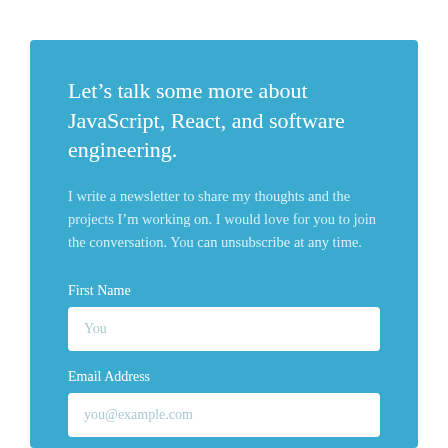Let’s talk some more about JavaScript, React, and software engineering.
I write a newsletter to share my thoughts and the projects I’m working on. I would love for you to join the conversation. You can unsubscribe at any time.
First Name
You
Email Address
you@example.com